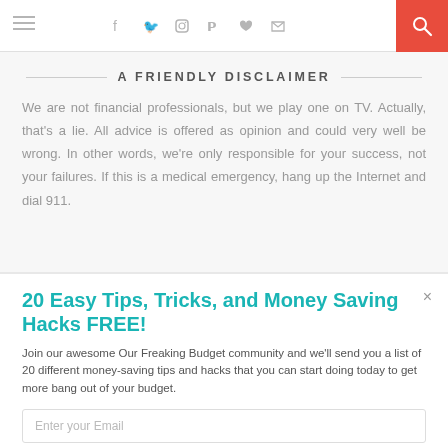Navigation bar with hamburger menu, social icons (f, twitter, instagram, pinterest, heart, rss), and search button
A FRIENDLY DISCLAIMER
We are not financial professionals, but we play one on TV. Actually, that's a lie. All advice is offered as opinion and could very well be wrong. In other words, we're only responsible for your success, not your failures. If this is a medical emergency, hang up the Internet and dial 911.
20 Easy Tips, Tricks, and Money Saving Hacks FREE!
Join our awesome Our Freaking Budget community and we'll send you a list of 20 different money-saving tips and hacks that you can start doing today to get more bang out of your budget.
Enter your Email
Sign Me Up!